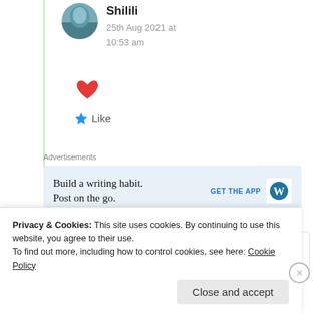Shilili
25th Aug 2021 at 10:53 am
[Figure (illustration): Red heart emoji/icon]
★ Like
Advertisements
[Figure (screenshot): WordPress ad: Build a writing habit. Post on the go. GET THE APP with WordPress logo]
REPORT THIS AD
[Figure (photo): Partially visible comment section with avatar]
Privacy & Cookies: This site uses cookies. By continuing to use this website, you agree to their use.
To find out more, including how to control cookies, see here: Cookie Policy
Close and accept